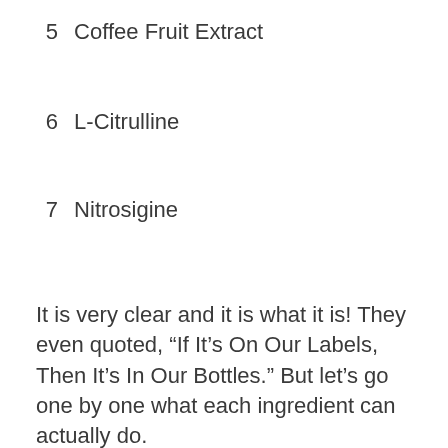5  Coffee Fruit Extract
6  L-Citrulline
7  Nitrosigine
It is very clear and it is what it is! They even quoted, “If It’s On Our Labels, Then It’s In Our Bottles.” But let’s go one by one what each ingredient can actually do.